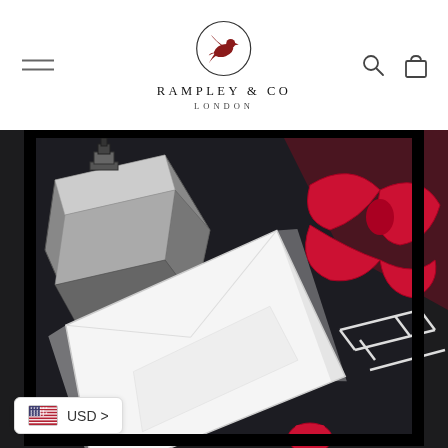RAMPLEY & CO LONDON
[Figure (photo): Product photo of a silk pocket square or scarf with painted artwork showing a white envelope, red bow tie, and geometric shapes on a dark background]
USD >